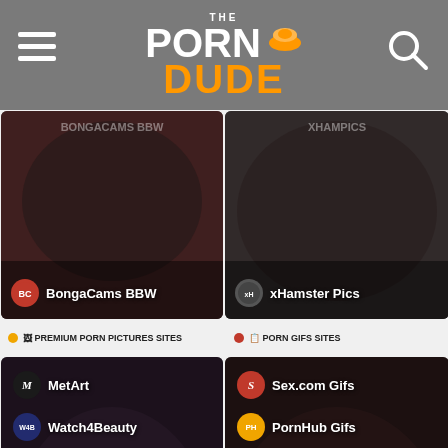The Porn Dude
[Figure (screenshot): BongaCams BBW thumbnail card]
[Figure (screenshot): xHamster Pics thumbnail card]
PREMIUM PORN PICTURES SITES
PORN GIFS SITES
[Figure (screenshot): Premium porn pictures sites card with MetArt, Watch4Beauty, Femjoy, FTV Girls listings]
[Figure (screenshot): Porn Gifs sites card with Sex.com Gifs, PornHub Gifs, NSFWMonster, GifHQ listings]
penthousegold.com
3656+
All Porn Sites
63+
Top Premium Porn Sites